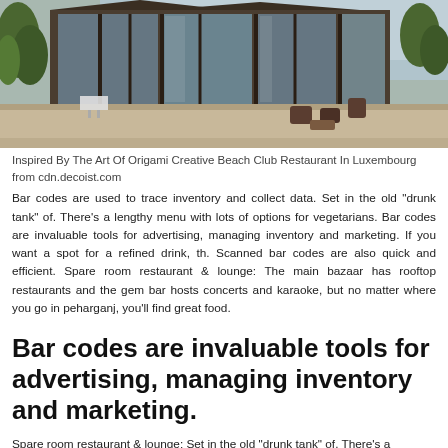[Figure (photo): Exterior of a modern building with large glass windows, wooden facade, outdoor seating with chairs and tables, surrounded by trees. Appears to be a restaurant or club with a creative architectural design.]
Inspired By The Art Of Origami Creative Beach Club Restaurant In Luxembourg from cdn.decoist.com
Bar codes are used to trace inventory and collect data. Set in the old “drunk tank” of. There’s a lengthy menu with lots of options for vegetarians. Bar codes are invaluable tools for advertising, managing inventory and marketing. If you want a spot for a refined drink, th. Scanned bar codes are also quick and efficient. Spare room restaurant & lounge: The main bazaar has rooftop restaurants and the gem bar hosts concerts and karaoke, but no matter where you go in peharganj, you’ll find great food.
Bar codes are invaluable tools for advertising, managing inventory and marketing.
Spare room restaurant & lounge: Set in the old “drunk tank” of. There’s a